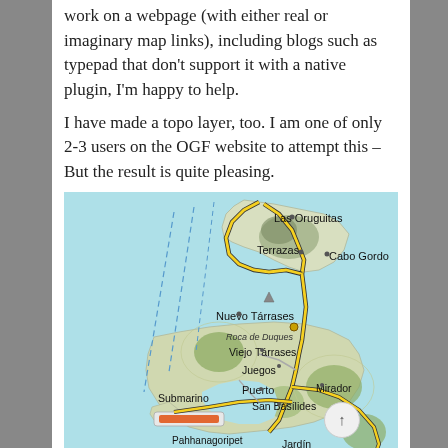work on a webpage (with either real or imaginary map links), including blogs such as typepad that don't support it with a native plugin, I'm happy to help.
I have made a topo layer, too. I am one of only 2-3 users on the OGF website to attempt this – But the result is quite pleasing.
[Figure (map): A topographic/street map showing an imaginary coastal region with place names: Las Oruguitas, Terrazas, Cabo Gordo, Nuevo Tárrases, Roca de Duques, Viejo Tárrases, Juegos, Submarino, Puerto, Mirador, San Basílides, Pahhanagoripet, Jardín, Estoque. Features yellow road outlines, blue dashed lines (water/borders), green vegetation areas, light blue water/sea areas, and an orange runway or feature near Submarino.]